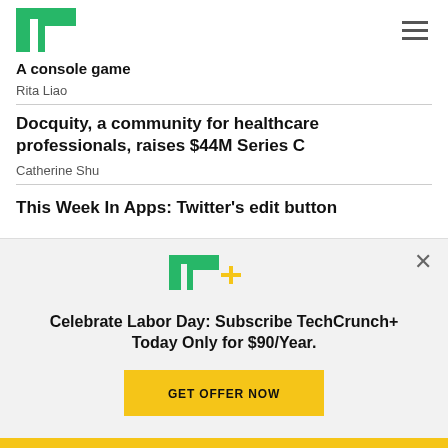TechCrunch
A console game
Rita Liao
Docquity, a community for healthcare professionals, raises $44M Series C
Catherine Shu
This Week In Apps: Twitter's edit button
[Figure (other): TechCrunch+ promotional modal overlay with TC+ logo, headline 'Celebrate Labor Day: Subscribe TechCrunch+ Today Only for $90/Year.' and a yellow GET OFFER NOW button]